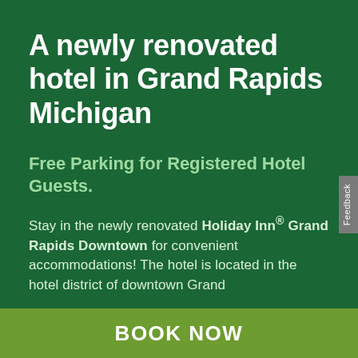A newly renovated hotel in Grand Rapids Michigan
Free Parking for Registered Hotel Guests.
Stay in the newly renovated Holiday Inn® Grand Rapids Downtown for convenient accommodations! The hotel is located in the hotel district of downtown Grand
BOOK NOW